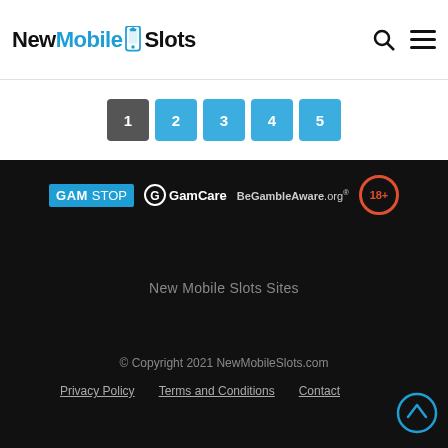NewMobileSlots
[Figure (other): Pagination bar with page buttons: 1 (active/dark), 2, 3, 4, 5 (blue)]
[Figure (other): Responsible gambling logos: GAM STOP, GamCare, BeGambleAware.org, 18+]
New Mobile Slots Sites
© Copyright 2021 NewMobileSlots.com
Privacy Policy   Terms and Conditions   Contact